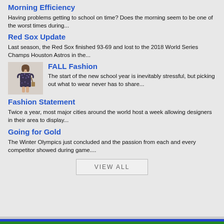Morning Efficiency
Having problems getting to school on time? Does the morning seem to be one of the worst times during...
Red Sox Update
Last season, the Red Sox finished 93-69 and lost to the 2018 World Series Champs Houston Astros in the...
[Figure (photo): A young woman wearing a dark floral off-shoulder romper, standing against a light background.]
FALL Fashion
The start of the new school year is inevitably stressful, but picking out what to wear never has to share...
Fashion Statement
Twice a year, most major cities around the world host a week allowing designers in their area to display...
Going for Gold
The Winter Olympics just concluded and the passion from each and every competitor showed during game....
VIEW ALL